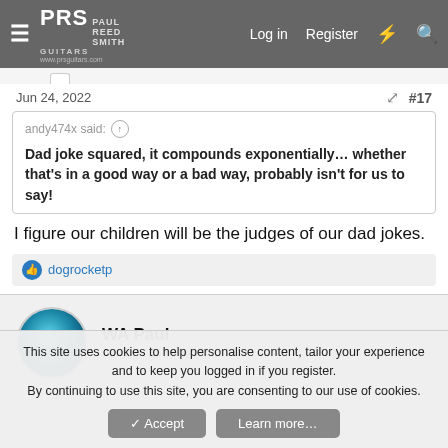PRS Paul Reed Smith Guitars www.prsguitars.com | Log in | Register
Jun 24, 2022
#17
andy474x said:
Dad joke squared, it compounds exponentially… whether that's in a good way or a bad way, probably isn't for us to say!
I figure our children will be the judges of our dad jokes.
👍 dogrocketp
WA Paul
All dogs go to heaven
This site uses cookies to help personalise content, tailor your experience and to keep you logged in if you register.
By continuing to use this site, you are consenting to our use of cookies.
Accept  Learn more…